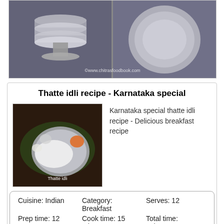[Figure (photo): Two photos of stainless steel idli maker and thatte/plate, with watermark ©www.chitrasfoodbook.com]
Thatte idli recipe - Karnataka special
[Figure (photo): Thatte idli served on a plate with chutneys and garnish, labeled 'Thatte idli']
Karnataka special thatte idli recipe - Delicious breakfast recipe
| Cuisine: Indian | Category:
Breakfast | Serves: 12 |
| Prep time: 12 HRS | Cook time: 15 Minutes | Total time:
12h15m |